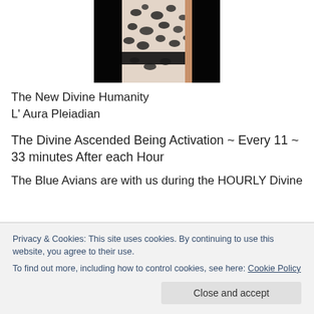[Figure (photo): A person wearing a black and white leopard print top with a black corset belt, arm visible, dark background.]
The New Divine Humanity
L' Aura Pleiadian
The Divine Ascended Being Activation ~ Every 11 ~ 33 minutes After each Hour
The Blue Avians are with us during the HOURLY Divine
Privacy & Cookies: This site uses cookies. By continuing to use this website, you agree to their use.
To find out more, including how to control cookies, see here: Cookie Policy
Close and accept